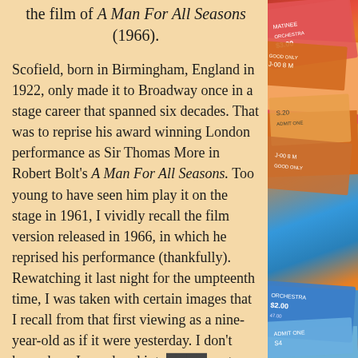the film of A Man For All Seasons (1966).
Scofield, born in Birmingham, England in 1922, only made it to Broadway once in a stage career that spanned six decades. That was to reprise his award winning London performance as Sir Thomas More in Robert Bolt's A Man For All Seasons. Too young to have seen him play it on the stage in 1961, I vividly recall the film version released in 1966, in which he reprised his performance (thankfully). Rewatching it last night for the umpteenth time, I was taken with certain images that I recall from that first viewing as a nine-year-old as if it were yesterday. I don't know how I wandered into [that] theatre at such a
[Figure (photo): A pile of colorful vintage theatre/event ticket stubs arranged overlapping on the right side of the image — reds, oranges, yellows, and blues visible.]